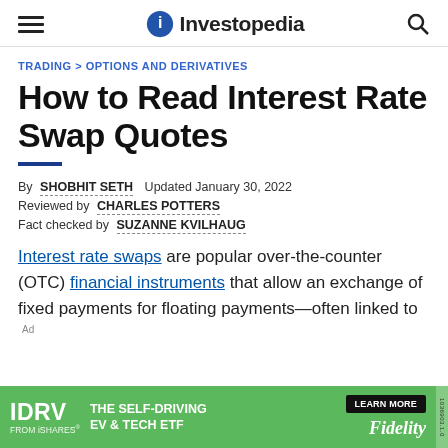Investopedia
TRADING > OPTIONS AND DERIVATIVES
How to Read Interest Rate Swap Quotes
By SHOBHIT SETH  Updated January 30, 2022
Reviewed by CHARLES POTTERS
Fact checked by SUZANNE KVILHAUG
Interest rate swaps are popular over-the-counter (OTC) financial instruments that allow an exchange of fixed payments for floating payments—often linked to
[Figure (other): IDRV FROM iSHARES advertisement banner: THE SELF-DRIVING EV & TECH ETF, LEARN MORE, Fidelity]